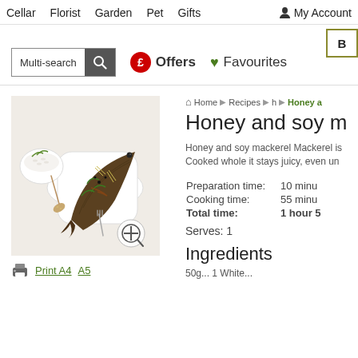Cellar  Florist  Garden  Pet  Gifts  My Account
Multi-search  £ Offers  ♥ Favourites
[Figure (photo): A whole cooked mackerel on a white rectangular platter, garnished with spring onions and herbs, with a bowl of rice and a spoon with sesame seeds on the side. A fork and plus/zoom icon overlay.]
Print A4  A5
Home ▶ Recipes ▶ h ▶ Honey a
Honey and soy m
Honey and soy mackerel Mackerel is Cooked whole it stays juicy, even un
Preparation time:  10 minu
Cooking time:  55 minu
Total time:  1 hour 5
Serves: 1
Ingredients
50g... 1 White...